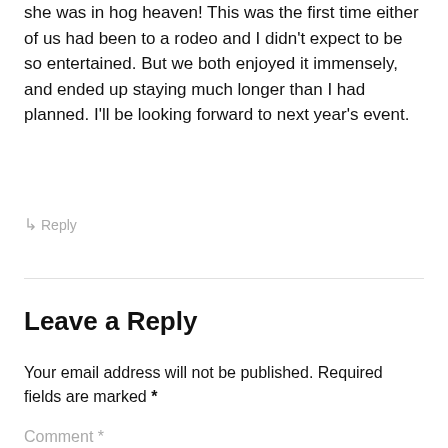What a fun event! I took my 4 year old granddaughter and she was in hog heaven! This was the first time either of us had been to a rodeo and I didn't expect to be so entertained. But we both enjoyed it immensely, and ended up staying much longer than I had planned. I'll be looking forward to next year's event.
↳ Reply
Leave a Reply
Your email address will not be published. Required fields are marked *
Comment *